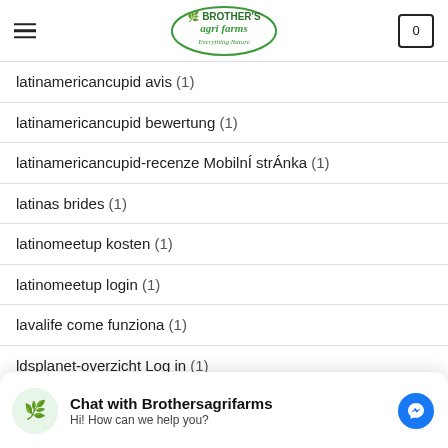Brother's Agri Farms — Everything Nature
latinamericancupid avis (1)
latinamericancupid bewertung (1)
latinamericancupid-recenze Mobilní stránka (1)
latinas brides (1)
latinomeetup kosten (1)
latinomeetup login (1)
lavalife come funziona (1)
ldsplanet-overzicht Log in (1)
[Figure (other): Chat with Brothersagrifarms messenger bubble with avatar logo and messenger icon]
le… n-dating sign in (1)